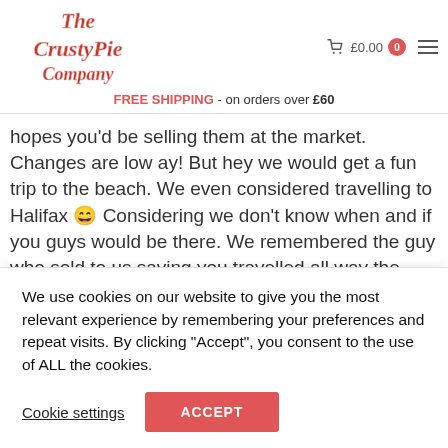[Figure (logo): The Crusty Pie Company cursive logo in dark red/maroon script]
£0.00  0
FREE SHIPPING - on orders over £60
hopes you'd be selling them at the market. Changes are low ay! But hey we would get a fun trip to the beach. We even considered travelling to Halifax 😄 Considering we don't know when and if you guys would be there. We remembered the guy who sold to us saying you travelled all way the from Halifax and we spoke about the back story to your food. We recalled him saying you don't
We use cookies on our website to give you the most relevant experience by remembering your preferences and repeat visits. By clicking "Accept", you consent to the use of ALL the cookies.
Cookie settings
ACCEPT